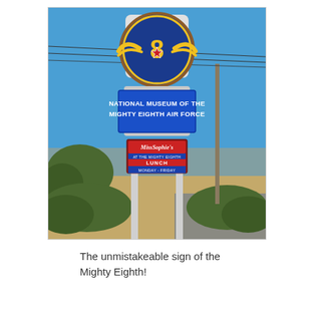[Figure (photo): Outdoor photograph of the National Museum of the Mighty Eighth Air Force roadside sign. The sign features a large circular emblem at the top with the 8th Air Force insignia (a gold winged figure-8 with a red and white star on a blue background). Below is a large blue rectangular sign reading 'NATIONAL MUSEUM OF THE MIGHTY EIGHTH AIR FORCE' in white text. A smaller sign below reads 'Miss Sophie's AT THE MIGHTY EIGHTH LUNCH MONDAY - FRIDAY'. The background shows a clear blue sky with power lines, trees, and shrubs.]
The unmistakeable sign of the Mighty Eighth!